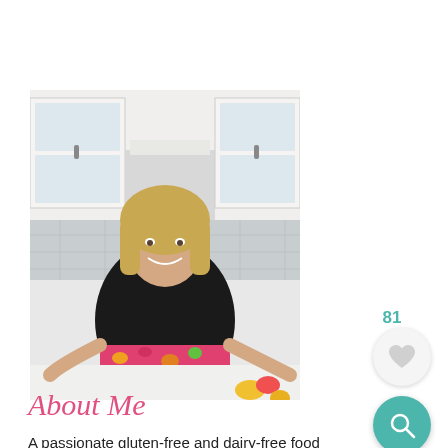[Figure (photo): A smiling blonde woman wearing a black top and colorful floral apron standing at a white kitchen counter, with white kitchen cabinets, a range hood, subway tile backsplash, and a bouquet of yellow and pink flowers in the background.]
About Me
A passionate gluten-free and dairy-free food